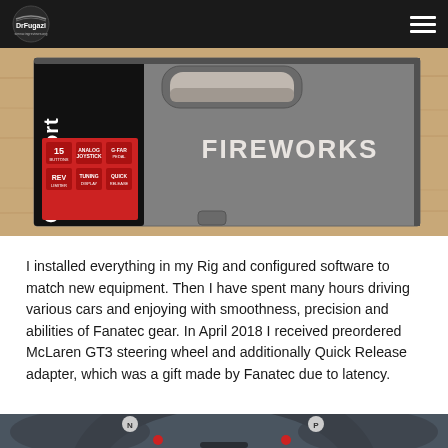DrFugazi
[Figure (photo): ClubSport product box labeled FIREWORKS on a wooden surface. The box shows a red label panel with text reading ClubSport, 15, ANALOG JOYSTICK, G-FAR, REV, TUNING, QUICK.]
I installed everything in my Rig and configured software to match new equipment. Then I have spent many hours driving various cars and enjoying with smoothness, precision and abilities of Fanatec gear. In April 2018 I received preordered McLaren GT3 steering wheel and additionally Quick Release adapter, which was a gift made by Fanatec due to latency.
[Figure (photo): Close-up photo of a McLaren GT3 steering wheel showing the top portion with buttons labeled N and P, red joystick knobs, and carbon fiber texture.]